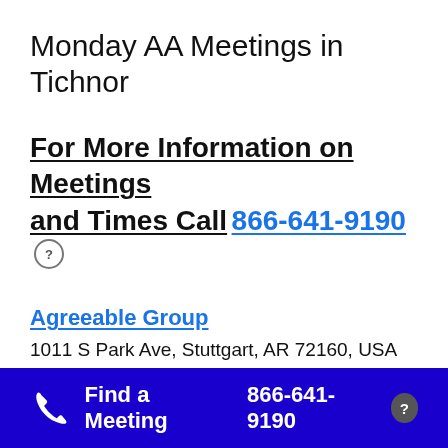Monday AA Meetings in Tichnor
For More Information on Meetings and Times Call 866-641-9190
Agreeable Group
1011 S Park Ave, Stuttgart, AR 72160, USA
Open Meeting of Alcoholics Anonymous
28.8 miles from the center of Tichnor, AR
Find a Meeting 866-641-9190